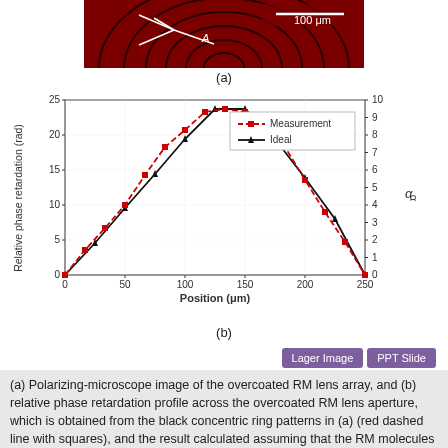[Figure (photo): Polarizing-microscope image of overcoated RM lens array showing dark red concentric ring patterns with a scale bar of 100 μm and label A indicating a dimension.]
(a)
[Figure (line-chart): Relative phase retardation vs Position]
(b)
Lager Image   PPT Slide
(a) Polarizing-microscope image of the overcoated RM lens array, and (b) relative phase retardation profile across the overcoated RM lens aperture, which is obtained from the black concentric ring patterns in (a) (red dashed line with squares), and the result calculated assuming that the RM molecules are unidirectionally aligned without orientational distortion (black